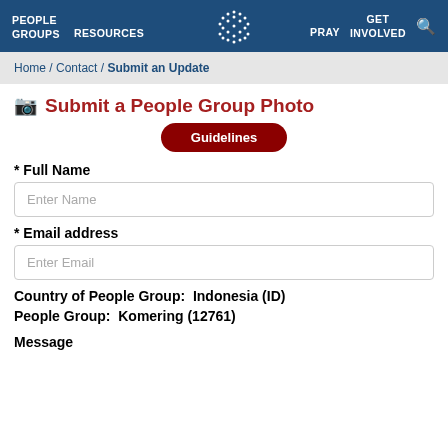PEOPLE GROUPS  RESOURCES  [logo]  PRAY  GET INVOLVED  [search]
Home / Contact / Submit an Update
Submit a People Group Photo
Guidelines
* Full Name
Enter Name
* Email address
Enter Email
Country of People Group:  Indonesia (ID)
People Group:  Komering (12761)
Message